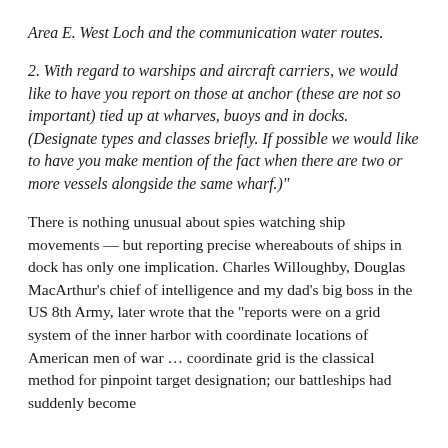Area E. West Loch and the communication water routes.
2. With regard to warships and aircraft carriers, we would like to have you report on those at anchor (these are not so important) tied up at wharves, buoys and in docks. (Designate types and classes briefly. If possible we would like to have you make mention of the fact when there are two or more vessels alongside the same wharf.)"
There is nothing unusual about spies watching ship movements — but reporting precise whereabouts of ships in dock has only one implication. Charles Willoughby, Douglas MacArthur's chief of intelligence and my dad's big boss in the US 8th Army, later wrote that the "reports were on a grid system of the inner harbor with coordinate locations of American men of war ... coordinate grid is the classical method for pinpoint target designation; our battleships had suddenly become